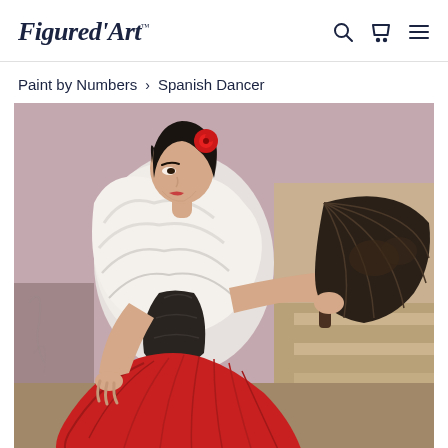Figured'Art™
Paint by Numbers  >  Spanish Dancer
[Figure (illustration): A paint-by-numbers style illustration of a Spanish flamenco dancer wearing a white ruffled top, black bodice, and a red skirt, holding a dark decorative fan. The background is in muted mauve and tan tones.]